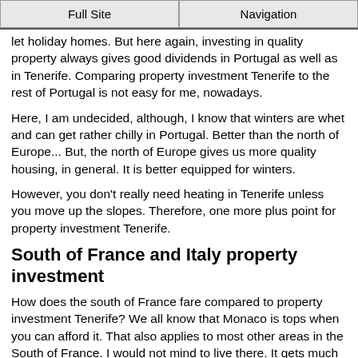Full Site | Navigation
let holiday homes. But here again, investing in quality property always gives good dividends in Portugal as well as in Tenerife. Comparing property investment Tenerife to the rest of Portugal is not easy for me, nowadays.
Here, I am undecided, although, I know that winters are whet and can get rather chilly in Portugal. Better than the north of Europe... But, the north of Europe gives us more quality housing, in general. It is better equipped for winters.
However, you don't really need heating in Tenerife unless you move up the slopes. Therefore, one more plus point for property investment Tenerife.
South of France and Italy property investment
How does the south of France fare compared to property investment Tenerife? We all know that Monaco is tops when you can afford it. That also applies to most other areas in the South of France. I would not mind to live there. It gets much colder in winter than in Tenerife, however. Living in